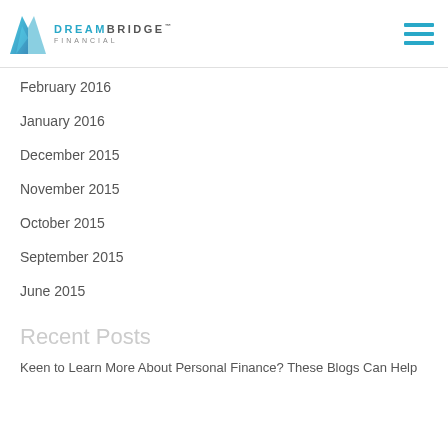DreamBridge Financial
February 2016
January 2016
December 2015
November 2015
October 2015
September 2015
June 2015
Recent Posts
Keen to Learn More About Personal Finance? These Blogs Can Help